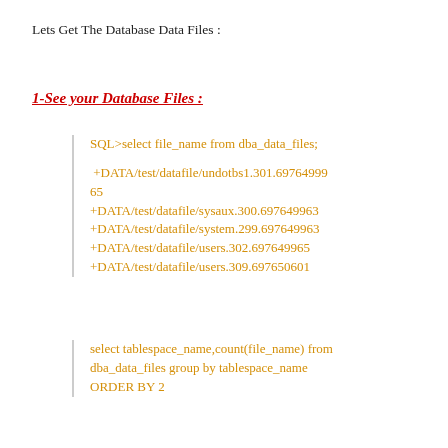Lets Get The Database Data Files :
1-See your Database Files :
SQL>select file_name from dba_data_files;

 +DATA/test/datafile/undotbs1.301.69764996565
+DATA/test/datafile/sysaux.300.697649963
+DATA/test/datafile/system.299.697649963
+DATA/test/datafile/users.302.697649965
+DATA/test/datafile/users.309.697650601
select tablespace_name,count(file_name) from dba_data_files group by tablespace_name ORDER BY 2